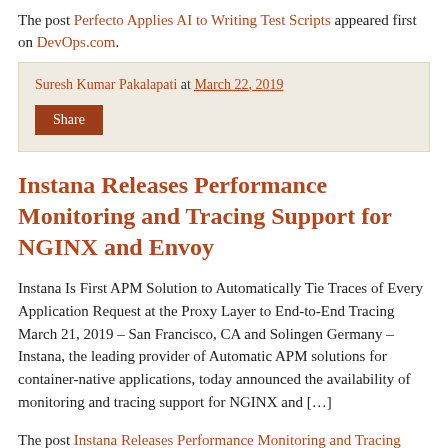The post Perfecto Applies AI to Writing Test Scripts appeared first on DevOps.com.
Suresh Kumar Pakalapati at March 22, 2019
Share
Instana Releases Performance Monitoring and Tracing Support for NGINX and Envoy
Instana Is First APM Solution to Automatically Tie Traces of Every Application Request at the Proxy Layer to End-to-End Tracing March 21, 2019 – San Francisco, CA and Solingen Germany – Instana, the leading provider of Automatic APM solutions for container-native applications, today announced the availability of monitoring and tracing support for NGINX and […]
The post Instana Releases Performance Monitoring and Tracing Support for NGINX and Envoy appeared first on DevOps.com